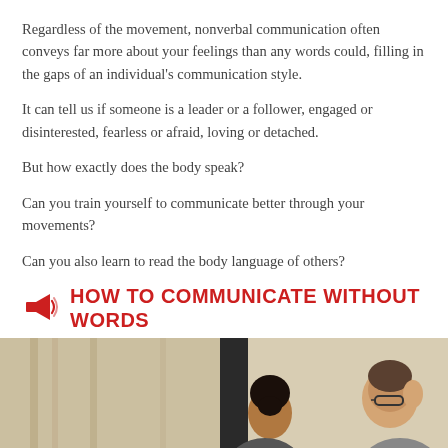Regardless of the movement, nonverbal communication often conveys far more about your feelings than any words could, filling in the gaps of an individual's communication style.
It can tell us if someone is a leader or a follower, engaged or disinterested, fearless or afraid, loving or detached.
But how exactly does the body speak?
Can you train yourself to communicate better through your movements?
Can you also learn to read the body language of others?
HOW TO COMMUNICATE WITHOUT WORDS
[Figure (photo): Two people in conversation, one with glasses facing away, another with dark hair with back to camera, in a light studio setting with vertical ropes or poles visible]